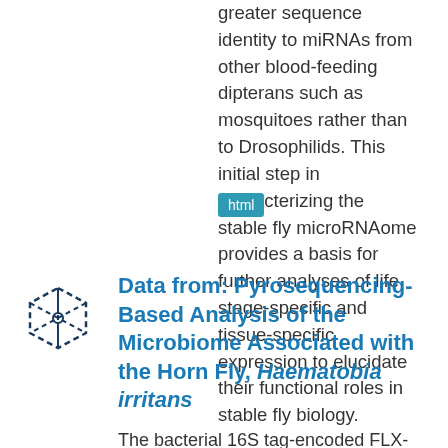greater sequence identity to miRNAs from other blood-feeding dipterans such as mosquitoes rather than to Drosophilids. This initial step in characterizing the stable fly microRNAome provides a basis for further analyses of life stage-specific and tissue-specific expression to elucidate their functional roles in stable fly biology.
html
[Figure (other): 3D cube wireframe icon with dashed lines]
Data from: Pyrosequencing-Based Analysis of the Microbiome Associated with the Horn Fly, Haematobia irritans
The bacterial 16S tag-encoded FLX-titanium